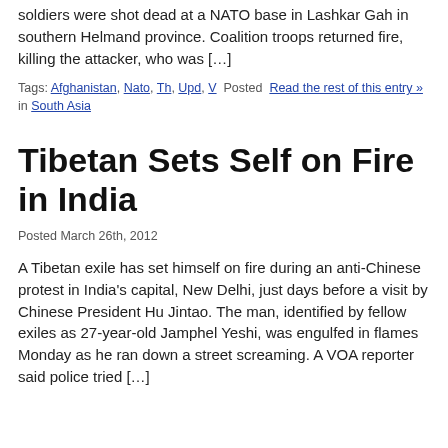soldiers were shot dead at a NATO base in Lashkar Gah in southern Helmand province. Coalition troops returned fire, killing the attacker, who was […]
Tags: Afghanistan, Nato, Th, Upd, V Posted Read the rest of this entry » in South Asia
Tibetan Sets Self on Fire in India
Posted March 26th, 2012
A Tibetan exile has set himself on fire during an anti-Chinese protest in India's capital, New Delhi, just days before a visit by Chinese President Hu Jintao. The man, identified by fellow exiles as 27-year-old Jamphel Yeshi, was engulfed in flames Monday as he ran down a street screaming. A VOA reporter said police tried […]